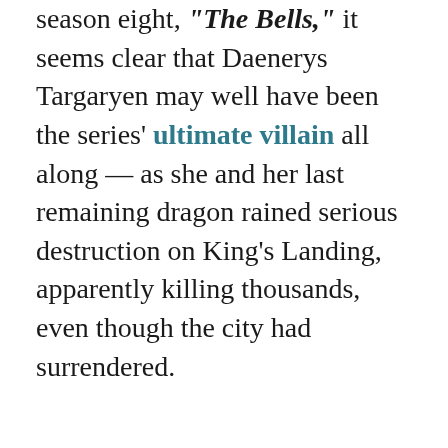season eight, "The Bells," it seems clear that Daenerys Targaryen may well have been the series' ultimate villain all along — as she and her last remaining dragon rained serious destruction on King's Landing, apparently killing thousands, even though the city had surrendered.